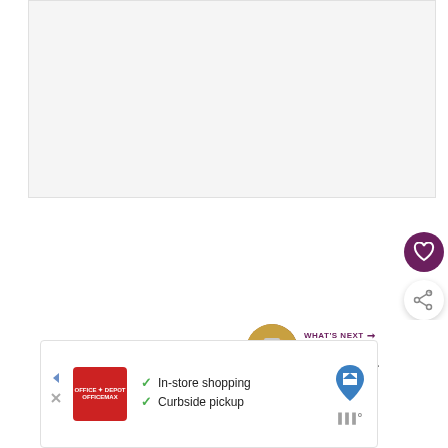[Figure (photo): Large light gray rectangular image placeholder area at top of page]
[Figure (illustration): Dark purple circular heart/favorite button icon]
[Figure (illustration): White circular share button with share icon]
[Figure (illustration): What's Next panel showing a circular thumbnail of Creamy Pumpkin Pie with label WHAT'S NEXT and arrow]
[Figure (illustration): Advertisement banner for Office Depot showing in-store shopping and curbside pickup options with checkmarks, red logo, blue map pin icon, and thermometer icon]